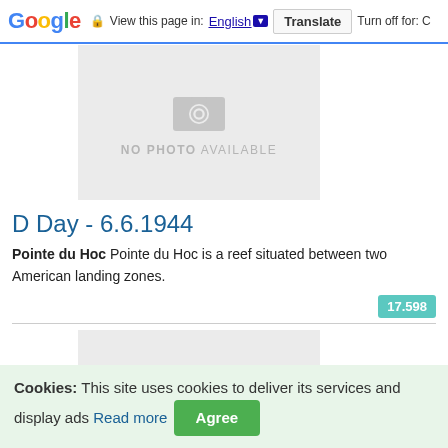Google | View this page in: English [▼] | Translate | Turn off for: C
[Figure (photo): No photo available placeholder image with camera icon]
D Day - 6.6.1944
Pointe du Hoc Pointe du Hoc is a reef situated between two American landing zones.
17.598
[Figure (photo): Partial second photo placeholder (gray box, cropped)]
Cookies: This site uses cookies to deliver its services and display ads Read more Agree